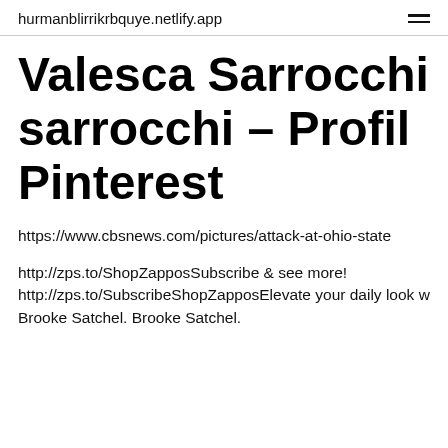hurmanblirrikrbquye.netlify.app
Valesca Sarrocchi sarrocchi – Profil Pinterest
https://www.cbsnews.com/pictures/attack-at-ohio-state
http://zps.to/ShopZapposSubscribe & see more! http://zps.to/SubscribeShopZapposElevate your daily look w Brooke Satchel. Brooke Satchel.